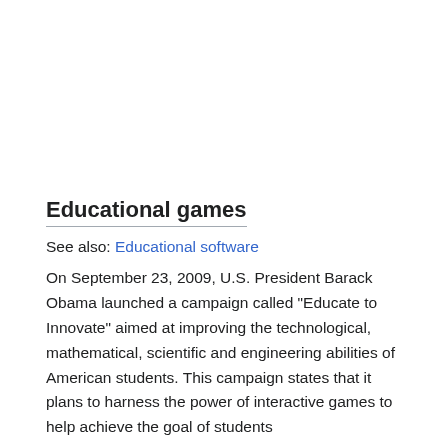Educational games
See also: Educational software
On September 23, 2009, U.S. President Barack Obama launched a campaign called "Educate to Innovate" aimed at improving the technological, mathematical, scientific and engineering abilities of American students. This campaign states that it plans to harness the power of interactive games to help achieve the goal of students